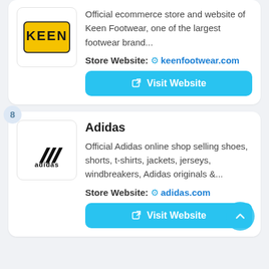[Figure (logo): Keen Footwear logo (partially visible at top)]
Official ecommerce store and website of Keen Footwear, one of the largest footwear brand...
Store Website: 🔗 keenfootwear.com
Visit Website
[Figure (logo): Adidas logo - black three stripes and adidas wordmark]
Adidas
Official Adidas online shop selling shoes, shorts, t-shirts, jackets, jerseys, windbreakers, Adidas originals &...
Store Website: 🔗 adidas.com
Visit Website